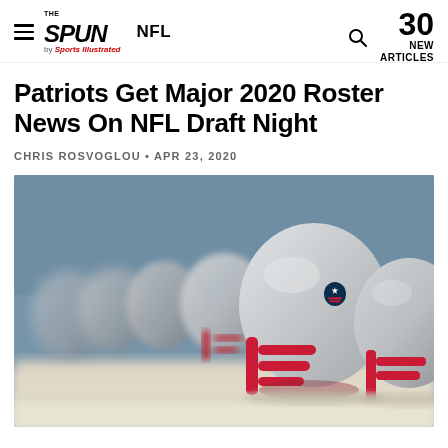THE SPUN by Sports Illustrated | NFL | 30 NEW ARTICLES
Patriots Get Major 2020 Roster News On NFL Draft Night
CHRIS ROSVOGLOU • APR 23, 2020
[Figure (photo): A row of New England Patriots silver football helmets with red face masks lined up on a bench, with the Patriots logo visible on the helmets.]